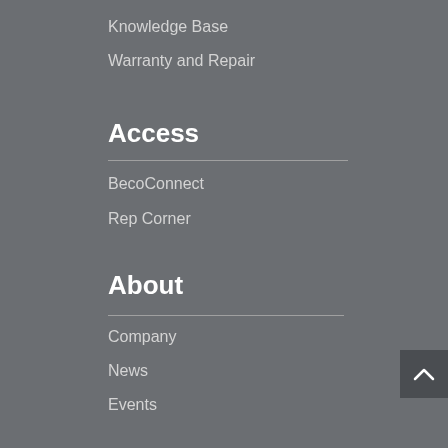Knowledge Base
Warranty and Repair
Access
BecoConnect
Rep Corner
About
Company
News
Events
Connect
Quality
Suppliers
Careers